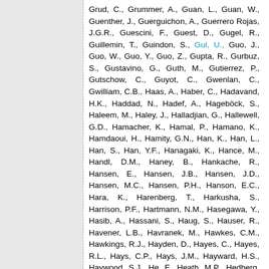Grud, C., Grummer, A., Guan, L., Guan, W., Guenther, J., Guerguichon, A., Guerrero Rojas, J.G.R., Guescini, F., Guest, D., Gugel, R., Guillemin, T., Guindon, S., Gul, U., Guo, J., Guo, W., Guo, Y., Guo, Z., Gupta, R., Gurbuz, S., Gustavino, G., Guth, M., Gutierrez, P., Gutschow, C., Guyot, C., Gwenlan, C., Gwilliam, C.B., Haas, A., Haber, C., Hadavand, H.K., Haddad, N., Hadef, A., Hageböck, S., Haleem, M., Haley, J., Halladjian, G., Hallewell, G.D., Hamacher, K., Hamal, P., Hamano, K., Hamdaoui, H., Hamity, G.N., Han, K., Han, L., Han, S., Han, Y.F., Hanagaki, K., Hance, M., Handl, D.M., Haney, B., Hankache, R., Hansen, E., Hansen, J.B., Hansen, J.D., Hansen, M.C., Hansen, P.H., Hanson, E.C., Hara, K., Harenberg, T., Harkusha, S., Harrison, P.F., Hartmann, N.M., Hasegawa, Y., Hasib, A., Hassani, S., Haug, S., Hauser, R., Havener, L.B., Havranek, M., Hawkes, C.M., Hawkings, R.J., Hayden, D., Hayes, C., Hayes, R.L., Hays, C.P., Hays, J.M., Hayward, H.S., Haywood, S.J., He, F., Heath, M.P., Hedberg, V., Heelan, L., Heer, S., Heidegger, K.K., Heidorn, W.D., Heilman, J., Heim, S., Heim, T., Heinemann, B., Heinrich, J.J., Heinrich, L., Heinz, C., Heibal, J., Helary, L., Held, A., Hellesund, S., Helling